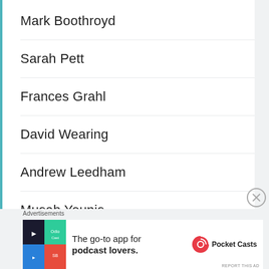Mark Boothroyd
Sarah Pett
Frances Grahl
David Wearing
Andrew Leedham
Musab Younis
Nick Bradshaw
Alex Ramon
Advertisements
[Figure (other): Pocket Casts advertisement banner: The go-to app for podcast lovers.]